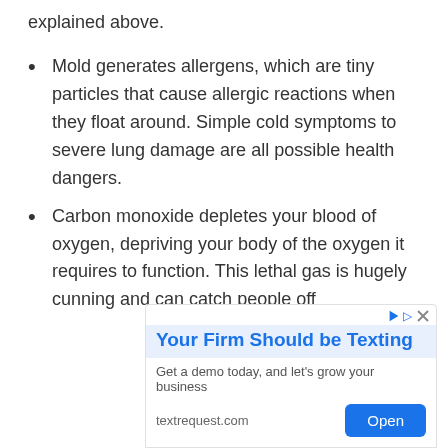explained above.
Mold generates allergens, which are tiny particles that cause allergic reactions when they float around. Simple cold symptoms to severe lung damage are all possible health dangers.
Carbon monoxide depletes your blood of oxygen, depriving your body of the oxygen it requires to function. This lethal gas is hugely cunning and can catch people off
[Figure (screenshot): Advertisement banner: 'Your Firm Should be Texting' from textrequest.com with an Open button]